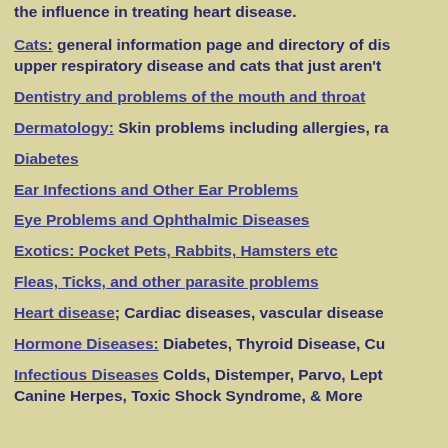Cats: general information page and directory of dis upper respiratory disease and cats that just aren't
Dentistry and problems of the mouth and throat
Dermatology: Skin problems including allergies, ra
Diabetes
Ear Infections and Other Ear Problems
Eye Problems and Ophthalmic Diseases
Exotics: Pocket Pets, Rabbits, Hamsters etc
Fleas, Ticks, and other parasite problems
Heart disease; Cardiac diseases, vascular disease
Hormone Diseases: Diabetes, Thyroid Disease, Cu
Infectious Diseases Colds, Distemper, Parvo, Lept Canine Herpes, Toxic Shock Syndrome, & More